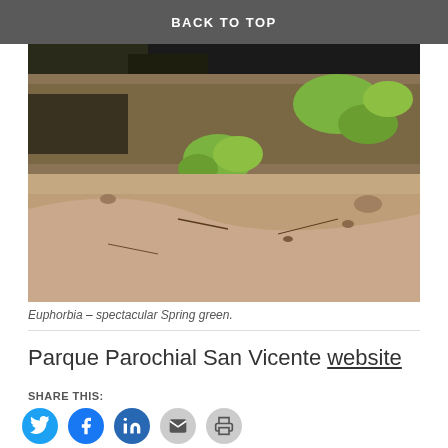BACK TO TOP
[Figure (photo): Outdoor photo of Euphorbia plants with bright spring green foliage growing in sandy, rocky soil with dry brush in background]
Euphorbia – spectacular Spring green.
Parque Parochial San Vicente website
SHARE THIS:
[Figure (infographic): Social share buttons: Twitter, Facebook, LinkedIn, Email, Print]